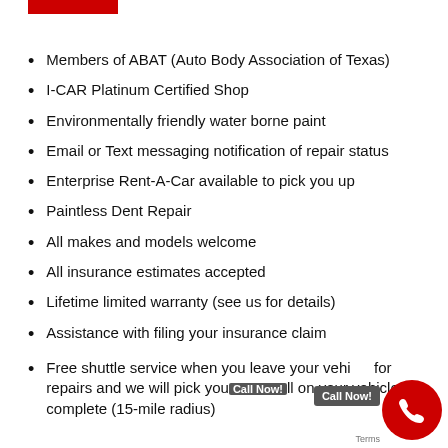[Figure (other): Red horizontal bar/logo element at top left]
Members of ABAT (Auto Body Association of Texas)
I-CAR Platinum Certified Shop
Environmentally friendly water borne paint
Email or Text messaging notification of repair status
Enterprise Rent-A-Car available to pick you up
Paintless Dent Repair
All makes and models welcome
All insurance estimates accepted
Lifetime limited warranty (see us for details)
Assistance with filing your insurance claim
Free shuttle service when you leave your vehicle for repairs and we will pick you up when all work on your vehicle is complete (15-mile radius)